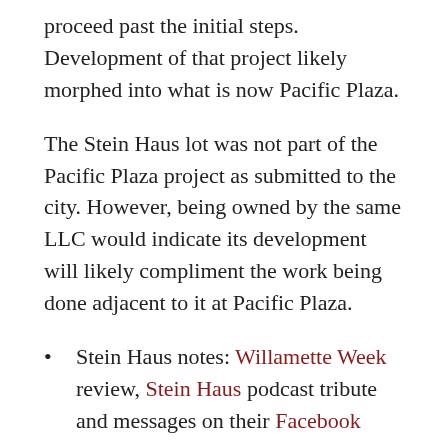proceed past the initial steps. Development of that project likely morphed into what is now Pacific Plaza.
The Stein Haus lot was not part of the Pacific Plaza project as submitted to the city. However, being owned by the same LLC would indicate its development will likely compliment the work being done adjacent to it at Pacific Plaza.
Stein Haus notes: Willamette Week review, Stein Haus podcast tribute and messages on their Facebook page.
Filed under: 2366 SE 82nd, CSS Properties, Stein   2 Comments